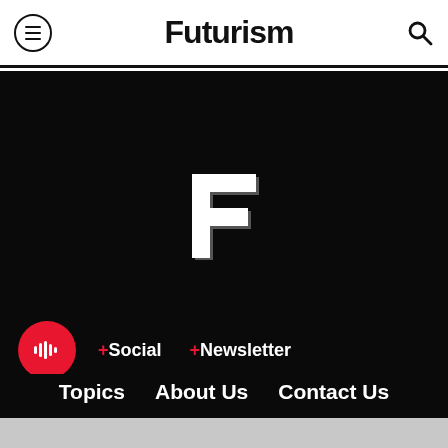Futurism
[Figure (logo): Futurism 'F' logo in white on black background]
+Social  +Newsletter
Topics  About Us  Contact Us